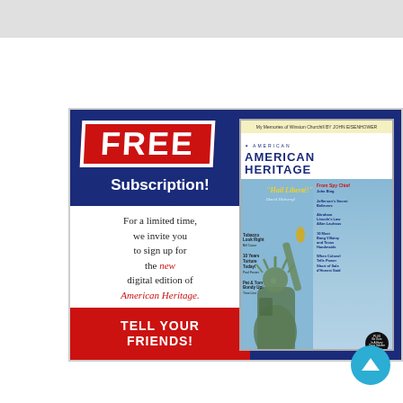[Figure (illustration): Advertisement for American Heritage magazine free digital subscription. Dark blue background with red FREE badge, white Subscription! text, white body text inviting sign-up for new digital edition of American Heritage, red bottom panel saying TELL YOUR FRIENDS!, and a magazine cover image on the right showing the Statue of Liberty with American Heritage masthead.]